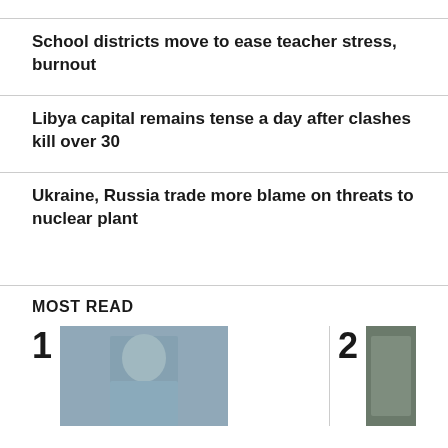School districts move to ease teacher stress, burnout
Libya capital remains tense a day after clashes kill over 30
Ukraine, Russia trade more blame on threats to nuclear plant
MOST READ